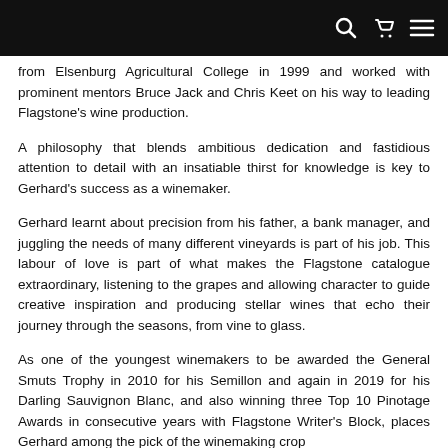[navigation bar with search, cart, and menu icons]
from Elsenburg Agricultural College in 1999 and worked with prominent mentors Bruce Jack and Chris Keet on his way to leading Flagstone's wine production.
A philosophy that blends ambitious dedication and fastidious attention to detail with an insatiable thirst for knowledge is key to Gerhard's success as a winemaker.
Gerhard learnt about precision from his father, a bank manager, and juggling the needs of many different vineyards is part of his job. This labour of love is part of what makes the Flagstone catalogue extraordinary, listening to the grapes and allowing character to guide creative inspiration and producing stellar wines that echo their journey through the seasons, from vine to glass.
As one of the youngest winemakers to be awarded the General Smuts Trophy in 2010 for his Semillon and again in 2019 for his Darling Sauvignon Blanc, and also winning three Top 10 Pinotage Awards in consecutive years with Flagstone Writer's Block, places Gerhard among the pick of the winemaking crop…